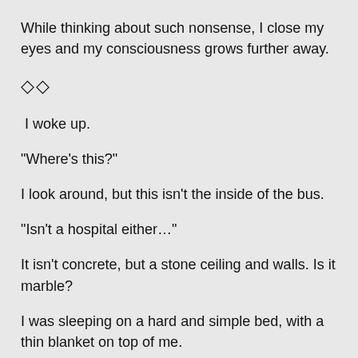While thinking about such nonsense, I close my eyes and my consciousness grows further away.
◇◇
I woke up.
“Where’s this?”
I look around, but this isn't the inside of the bus.
“Isn’t a hospital either…”
It isn't concrete, but a stone ceiling and walls. Is it marble?
I was sleeping on a hard and simple bed, with a thin blanket on top of me.